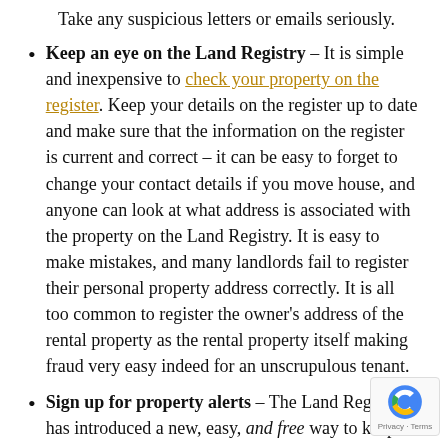Take any suspicious letters or emails seriously.
Keep an eye on the Land Registry – It is simple and inexpensive to check your property on the register. Keep your details on the register up to date and make sure that the information on the register is current and correct – it can be easy to forget to change your contact details if you move house, and anyone can look at what address is associated with the property on the Land Registry. It is easy to make mistakes, and many landlords fail to register their personal property address correctly. It is all too common to register the owner's address of the rental property as the rental property itself making fraud very easy indeed for an unscrupulous tenant.
Sign up for property alerts – The Land Registry has introduced a new, easy, and free way to keep tabs on your properties. You can sign up to receive email alerts with the Property Alert Service whenever somebody interacts with your